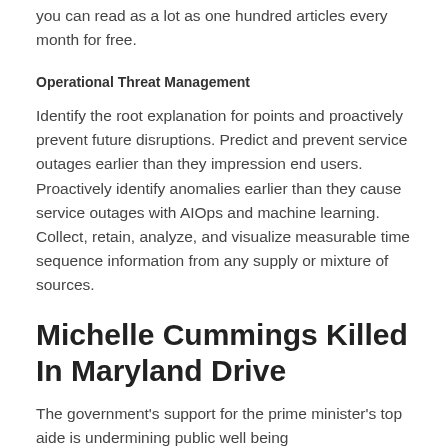you can read as a lot as one hundred articles every month for free.
Operational Threat Management
Identify the root explanation for points and proactively prevent future disruptions. Predict and prevent service outages earlier than they impression end users. Proactively identify anomalies earlier than they cause service outages with AIOps and machine learning. Collect, retain, analyze, and visualize measurable time sequence information from any supply or mixture of sources.
Michelle Cummings Killed In Maryland Drive
The government's support for the prime minister's top aide is undermining public well being recommendation, say specialists. Dominic Cummings has revealed that his young